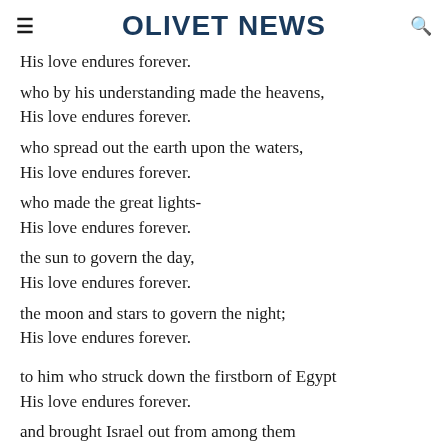OLIVET NEWS
His love endures forever.
who by his understanding made the heavens,
His love endures forever.
who spread out the earth upon the waters,
His love endures forever.
who made the great lights-
His love endures forever.
the sun to govern the day,
His love endures forever.
the moon and stars to govern the night;
His love endures forever.
to him who struck down the firstborn of Egypt
His love endures forever.
and brought Israel out from among them